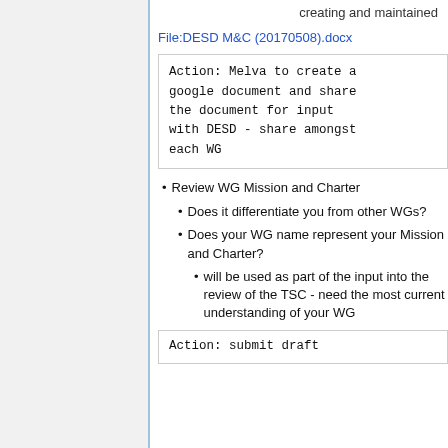creating and maintained
File:DESD M&C (20170508).docx
Action:  Melva to create a google document and share the document for input with DESD - share amongst each WG
Review WG Mission and Charter
Does it differentiate you from other WGs?
Does your WG name represent your Mission and Charter?
will be used as part of the input into the review of the TSC - need the most current understanding of your WG
Action: submit draft